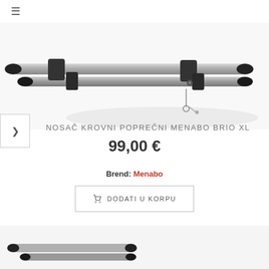≡
[Figure (photo): Roof rack cross bars with locking mechanism, silver bars with black end caps, keys visible]
NOSAČ KROVNI POPREČNI MENABO BRIO XL
99,00 €
Brend: Menabo
DODATI U KORPU
[Figure (photo): Partial view of additional roof rack product image at bottom of page]